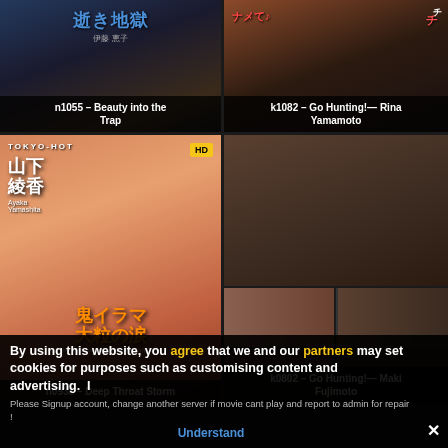[Figure (screenshot): Thumbnail for n1055 - Beauty into the Trap, dark blue/black tones with Japanese text]
n1055 – Beauty into the Trap
[Figure (screenshot): Thumbnail for k1082 - Go Hunting! Rina Yamamoto, brown tones with Japanese red text]
k1082 – Go Hunting!— Rina Yamamoto
[Figure (screenshot): Thumbnail for n0938 - Deep Throat Storm, Ayaka Yamashita, Tokyo Hot branding, HD badge]
n0938 – Deep Throat Storm
[Figure (screenshot): Thumbnail for k0802 - Go Hunting! Maki Fujimoto, multi-panel grid, HD badge]
k0802 – Go Hunting!— Maki Fujimoto
By using this website, you agree that we and our partners may set cookies for purposes such as customising content and advertising.  I
Please Signup account, change another server if movie cant play and report to admin for repair !
Understand